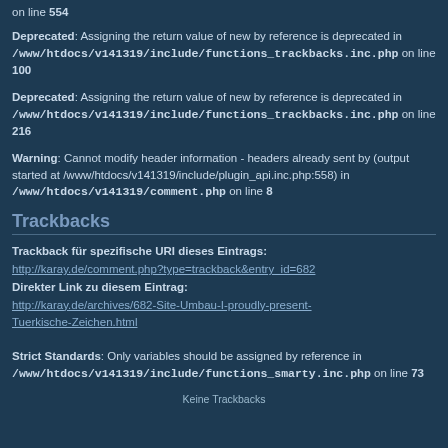on line 554
Deprecated: Assigning the return value of new by reference is deprecated in /www/htdocs/v141319/include/functions_trackbacks.inc.php on line 100
Deprecated: Assigning the return value of new by reference is deprecated in /www/htdocs/v141319/include/functions_trackbacks.inc.php on line 216
Warning: Cannot modify header information - headers already sent by (output started at /www/htdocs/v141319/include/plugin_api.inc.php:558) in /www/htdocs/v141319/comment.php on line 8
Trackbacks
Trackback für spezifische URI dieses Eintrags: http://karay.de/comment.php?type=trackback&entry_id=682
Direkter Link zu diesem Eintrag: http://karay.de/archives/682-Site-Umbau-I-proudly-present-Tuerkische-Zeichen.html
Strict Standards: Only variables should be assigned by reference in /www/htdocs/v141319/include/functions_smarty.inc.php on line 73
Keine Trackbacks